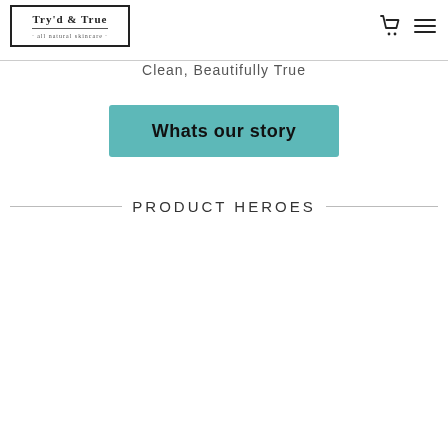[Figure (logo): Try'd & True all natural skincare logo in a rectangular border]
[Figure (other): Shopping cart icon and hamburger menu icon in the top right navigation]
Clean, Beautifully True
Whats our story
PRODUCT HEROES